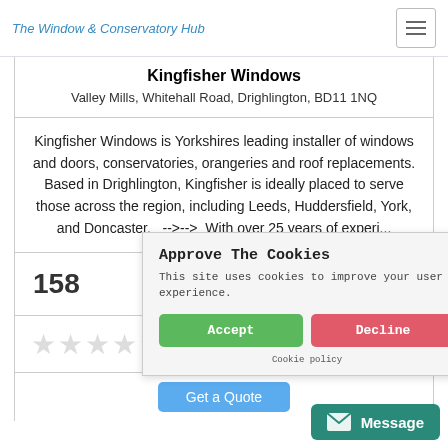The Window & Conservatory Hub
Kingfisher Windows
Valley Mills, Whitehall Road, Drighlington, BD11 1NQ
Kingfisher Windows is Yorkshires leading installer of windows and doors, conservatories, orangeries and roof replacements. Based in Drighlington, Kingfisher is ideally placed to serve those across the region, including Leeds, Huddersfield, York, and Doncaster.   -->-->  With over 25 years of experi...
158
[Figure (other): Star rating display showing approximately 2.5 out of 5 stars, mostly empty/grey stars]
Get a Quote
Approve The Cookies
This site uses cookies to improve your user experience.
Accept | Decline
Cookie policy